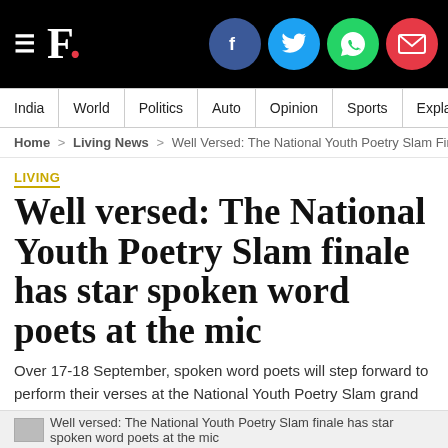F. [logo with social icons: Facebook, Twitter, WhatsApp, Email]
India | World | Politics | Auto | Opinion | Sports | Explainers
Home > Living News > Well Versed: The National Youth Poetry Slam Finale Ha
LIVING
Well versed: The National Youth Poetry Slam finale has star spoken word poets at the mic
Over 17-18 September, spoken word poets will step forward to perform their verses at the National Youth Poetry Slam grand finale in Bengaluru
Ankita Maneck | August 28, 2016 09:58:58 IST
[Figure (photo): Well versed: The National Youth Poetry Slam finale has star spoken word poets at the mic — partial image visible at bottom]